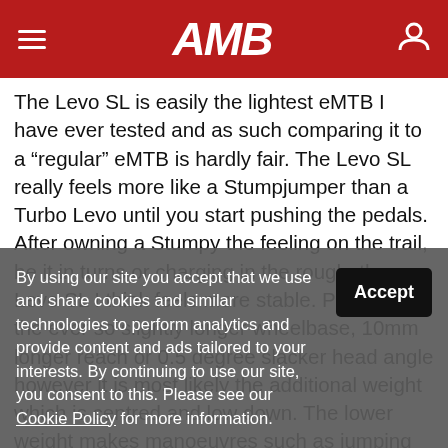AMB
The Levo SL is easily the lightest eMTB I have ever tested and as such comparing it to a “regular” eMTB is hardly fair. The Levo SL really feels more like a Stumpjumper than a Turbo Levo until you start pushing the pedals. After owning a Stumpy the feeling on the trail, be it in turns or charging in the rough, the Levo SL I think feels more stable. Perhaps it’s the ever so slightly longer wheelbase, 10mm longer reach or 0.5 degree slacker head angle however it is most likely the additional weight which is centred and low down. The lower weight makes manoeuvres such as jumping and manualling a breeze rather than the usual battle of will to change direc... k...
By using our site you accept that we use and share cookies and similar technologies to perform analytics and provide content and ads tailored to your interests. By continuing to use our site, you consent to this. Please see our Cookie Policy for more information.